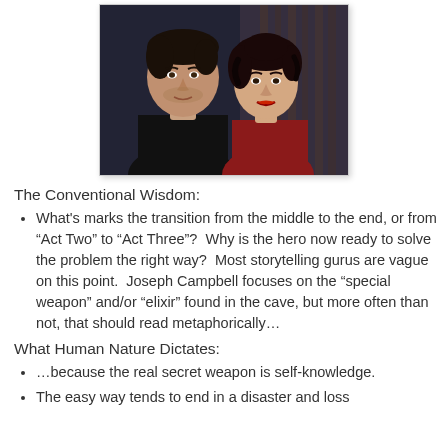[Figure (photo): A man and a woman in a dramatic posed portrait photograph, dark background, the woman wearing red.]
The Conventional Wisdom:
What's marks the transition from the middle to the end, or from “Act Two” to “Act Three”?  Why is the hero now ready to solve the problem the right way?  Most storytelling gurus are vague on this point.  Joseph Campbell focuses on the “special weapon” and/or “elixir” found in the cave, but more often than not, that should read metaphorically…
What Human Nature Dictates:
…because the real secret weapon is self-knowledge.
The easy way tends to end in a disaster and loss